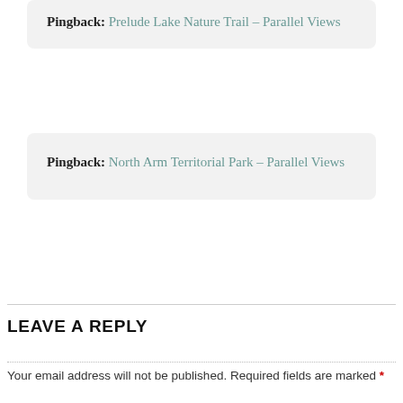Pingback: Prelude Lake Nature Trail – Parallel Views
Pingback: North Arm Territorial Park – Parallel Views
LEAVE A REPLY
Your email address will not be published. Required fields are marked *
Comment *